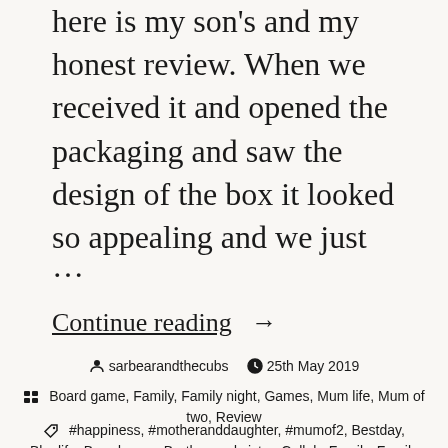here is my son's and my honest review. When we received it and opened the packaging and saw the design of the box it looked so appealing and we just
…
Continue reading →
sarbearandthecubs   25th May 2019
Board game, Family, Family night, Games, Mum life, Mum of two, Review
#happiness, #motheranddaughter, #mumof2, Bestday, Bloglife, Boardgame, Brother and sister, Collab, Family, Family